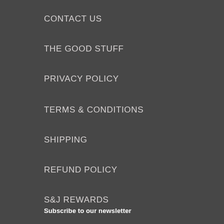CONTACT US
THE GOOD STUFF
PRIVACY POLICY
TERMS & CONDITIONS
SHIPPING
REFUND POLICY
S&J REWARDS
Subscribe to our newsletter